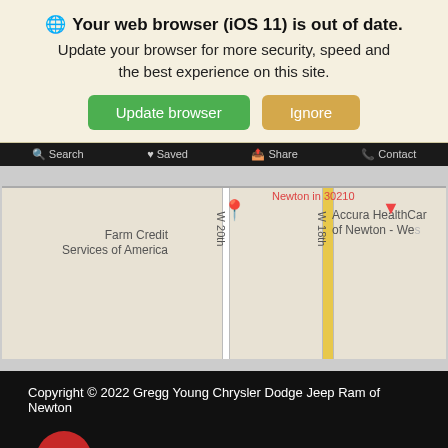🌐 Your web browser (iOS 11) is out of date. Update your browser for more security, speed and the best experience on this site.
[Figure (screenshot): Two buttons: green 'Update browser' and tan/gold 'Ignore']
[Figure (map): Street map showing Farm Credit Services of America, Newton in 30210 area, with W 20th and W 18th streets labeled, Accura HealthCar of Newton - West marker visible]
Copyright © 2022 Gregg Young Chrysler Dodge Jeep Ram of Newton